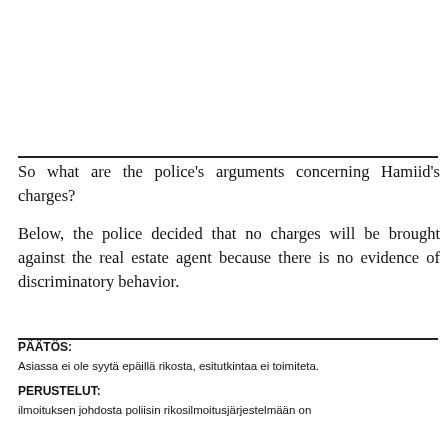So what are the police's arguments concerning Hamiid's charges?
Below, the police decided that no charges will be brought against the real estate agent because there is no evidence of discriminatory behavior.
PÄÄTÖS:
Asiassa ei ole syytä epäillä rikosta, esitutkintaa ei toimiteta.
PERUSTELUT:
ilmoituksen johdosta poliisin rikosilmoitusjärjestelmään on